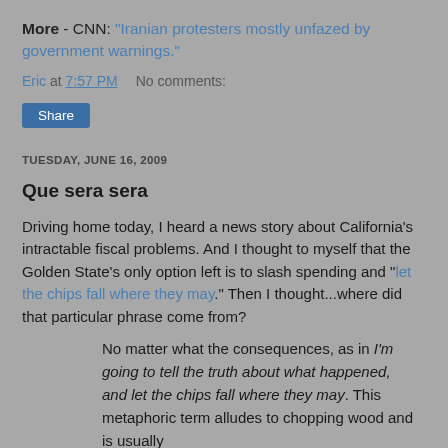More - CNN: "Iranian protesters mostly unfazed by government warnings."
Eric at 7:57 PM    No comments:
Share
TUESDAY, JUNE 16, 2009
Que sera sera
Driving home today, I heard a news story about California's intractable fiscal problems. And I thought to myself that the Golden State's only option left is to slash spending and "let the chips fall where they may." Then I thought...where did that particular phrase come from?
No matter what the consequences, as in I'm going to tell the truth about what happened, and let the chips fall where they may. This metaphoric term alludes to chopping wood and is usually